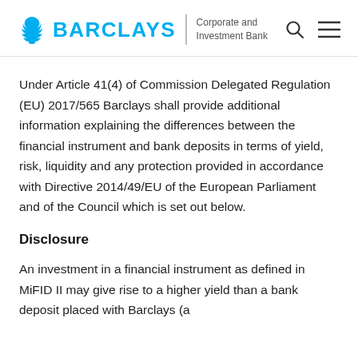BARCLAYS Corporate and Investment Bank
Under Article 41(4) of Commission Delegated Regulation (EU) 2017/565 Barclays shall provide additional information explaining the differences between the financial instrument and bank deposits in terms of yield, risk, liquidity and any protection provided in accordance with Directive 2014/49/EU of the European Parliament and of the Council which is set out below.
Disclosure
An investment in a financial instrument as defined in MiFID II may give rise to a higher yield than a bank deposit placed with Barclays (a